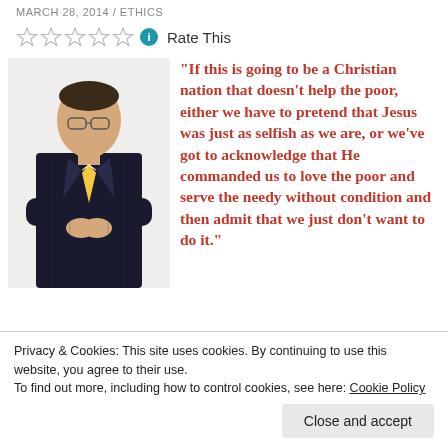MARCH 28, 2014 / ETHICS
Rate This
[Figure (photo): Man in dark suit with arms crossed, wearing glasses and a striped tie, standing against a white background]
"If this is going to be a Christian nation that doesn't help the poor, either we have to pretend that Jesus was just as selfish as we are, or we've got to acknowledge that He commanded us to love the poor and serve the needy without condition and then admit that we just don't want to do it."
Privacy & Cookies: This site uses cookies. By continuing to use this website, you agree to their use. To find out more, including how to control cookies, see here: Cookie Policy
Close and accept